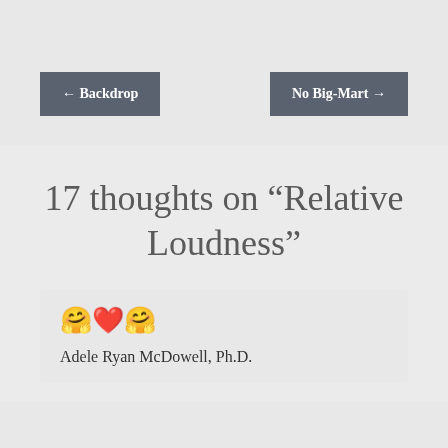← Backdrop
No Big-Mart →
17 thoughts on “Relative Loudness”
🤗❤️🤗
Adele Ryan McDowell, Ph.D.